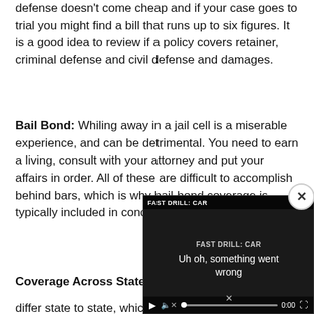defense doesn't come cheap and if your case goes to trial you might find a bill that runs up to six figures. It is a good idea to review if a policy covers retainer, criminal defense and civil defense and damages.
Bail Bond: Whiling away in a jail cell is a miserable experience, and can be detrimental. You need to earn a living, consult with your attorney and put your affairs in order. All of these are difficult to accomplish behind bars, which is why bail-bond coverage is typic[ally included in] concealed carry insurance[.]
Coverage Across State L[ines]
differ state to state, which
[Figure (screenshot): Video player overlay showing an error message 'Uh oh, something went wrong' with title 'FAST DRILL: CAR' and a close button (x). Video controls show play button, progress bar with X mark, 0:00 timestamp, and fullscreen icon. Background shows a dark scene.]